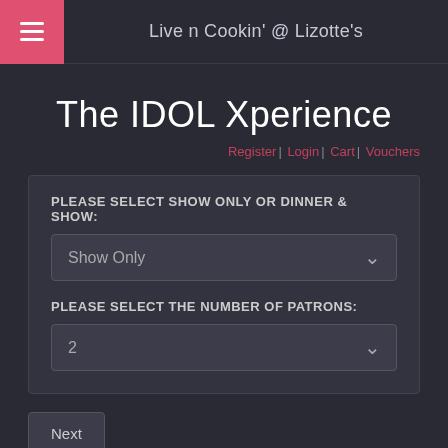Live n Cookin' @ Lizotte's
The IDOL Xperience
Register | Login | Cart | Vouchers
PLEASE SELECT SHOW ONLY OR DINNER & SHOW:
Show Only
PLEASE SELECT THE NUMBER OF PATRONS:
2
Next